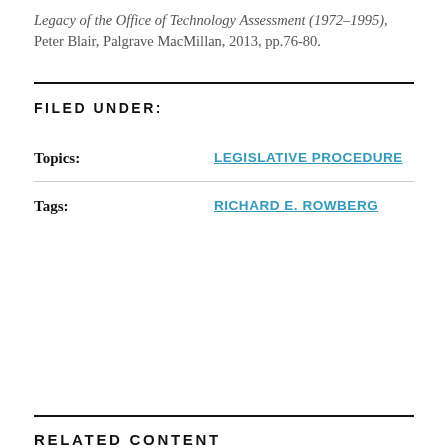Legacy of the Office of Technology Assessment (1972–1995), Peter Blair, Palgrave MacMillan, 2013, pp.76-80.
FILED UNDER:
Topics: LEGISLATIVE PROCEDURE
Tags: RICHARD E. ROWBERG
RELATED CONTENT